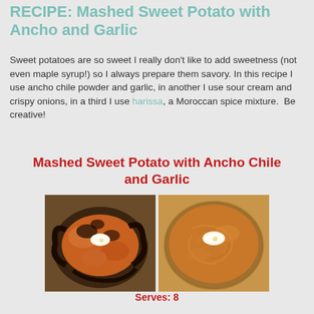RECIPE: Mashed Sweet Potato with Ancho and Garlic
Sweet potatoes are so sweet I really don't like to add sweetness (not even maple syrup!) so I always prepare them savory. In this recipe I use ancho chile powder and garlic, in another I use sour cream and crispy onions, in a third I use harissa, a Moroccan spice mixture.  Be creative!
Mashed Sweet Potato with Ancho Chile and Garlic
[Figure (photo): Two photos side by side: left shows a rough baked sweet potato with butter and dark charred skin; right shows smooth mashed sweet potato in a bowl with a pat of butter on top.]
Serves: 8